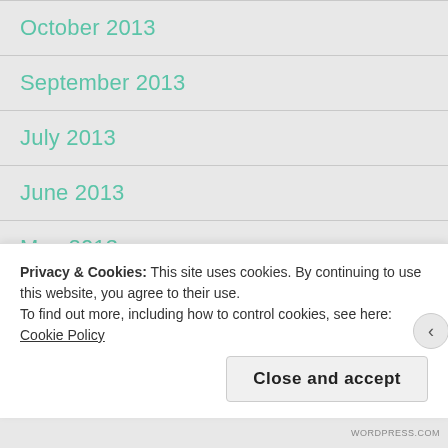October 2013
September 2013
July 2013
June 2013
May 2013
January 2013
December 2012
Privacy & Cookies: This site uses cookies. By continuing to use this website, you agree to their use.
To find out more, including how to control cookies, see here: Cookie Policy
Close and accept
WORDPRESS.COM